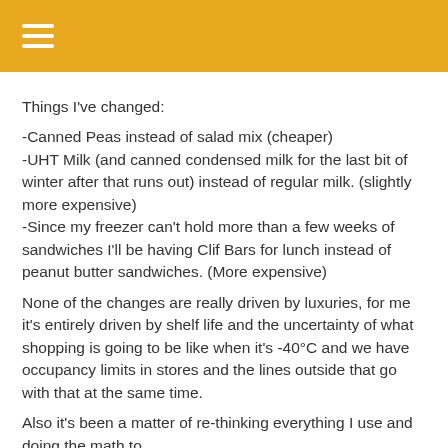Things I've changed:
-Canned Peas instead of salad mix (cheaper)
-UHT Milk (and canned condensed milk for the last bit of winter after that runs out) instead of regular milk. (slightly more expensive)
-Since my freezer can't hold more than a few weeks of sandwiches I'll be having Clif Bars for lunch instead of peanut butter sandwiches. (More expensive)
None of the changes are really driven by luxuries, for me it's entirely driven by shelf life and the uncertainty of what shopping is going to be like when it's -40°C and we have occupancy limits in stores and the lines outside that go with that at the same time.
Also it's been a matter of re-thinking everything I use and doing the math to